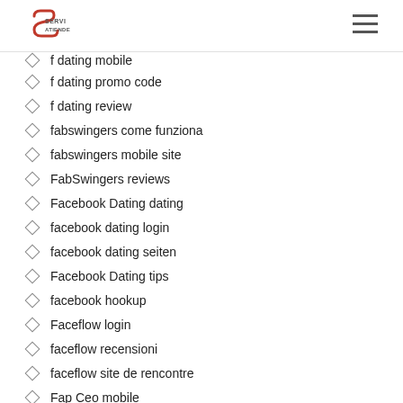Serviatiende logo and navigation
f dating mobile
f dating promo code
f dating review
fabswingers come funziona
fabswingers mobile site
FabSwingers reviews
Facebook Dating dating
facebook dating login
facebook dating seiten
Facebook Dating tips
facebook hookup
Faceflow login
faceflow recensioni
faceflow site de rencontre
Fap Ceo mobile
farmersonly dating apps
FarmersOnly preise
FarmersOnly pricing